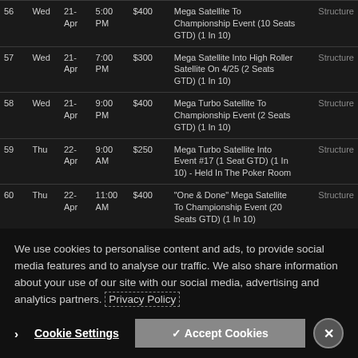| # | Day | Date | Time | Buy-In | Event | Info |
| --- | --- | --- | --- | --- | --- | --- |
| 56 | Wed | 21-Apr | 5:00 PM | $400 | Mega Satellite To Championship Event (10 Seats GTD) (1 In 10) | Structure |
| 57 | Wed | 21-Apr | 7:00 PM | $300 | Mega Satellite Into High Roller Satellite On 4/25 (2 Seats GTD) (1 In 10) | Structure |
| 58 | Wed | 21-Apr | 9:00 PM | $400 | Mega Turbo Satellite To Championship Event (2 Seats GTD) (1 In 10) | Structure |
| 59 | Thu | 22-Apr | 9:00 AM | $250 | Mega Turbo Satellite Into Event #17 (1 Seat GTD) (1 In 10) - Held In The Poker Room | Structure |
| 60 | Thu | 22-Apr | 11:00 AM | $400 | "One & Done" Mega Satellite To Championship Event (20 Seats GTD) (1 In 10) | Structure |
| 61 | Thu | 22-Apr | 2:00 PM | $1,100 | Multi Satellite Into Championship Event... | Structure |
We use cookies to personalise content and ads, to provide social media features and to analyse our traffic. We also share information about your use of our site with our social media, advertising and analytics partners. Privacy Policy